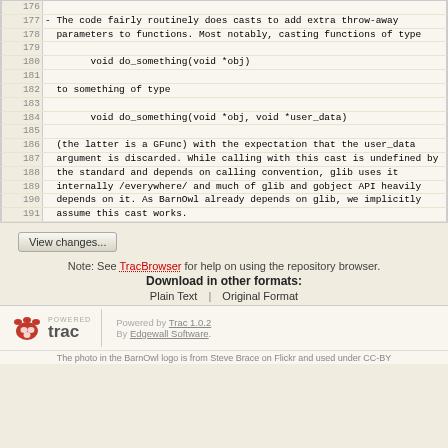| Line | Code |
| --- | --- |
| 176 |  |
| 177 | - The code fairly routinely does casts to add extra throw-away |
| 178 |   parameters to functions. Most notably, casting functions of type |
| 179 |  |
| 180 |         void do_something(void *obj) |
| 181 |  |
| 182 |   to something of type |
| 183 |  |
| 184 |         void do_something(void *obj, void *user_data) |
| 185 |  |
| 186 |   (the latter is a GFunc) with the expectation that the user_data |
| 187 |   argument is discarded. While calling with this cast is undefined by |
| 188 |   the standard and depends on calling convention, glib uses it |
| 189 |   internally /everywhere/ and much of glib and gobject API heavily |
| 190 |   depends on it. As BarnOwl already depends on glib, we implicitly |
| 191 |   assume this cast works. |
View changes...
Note: See TracBrowser for help on using the repository browser.
Download in other formats:
Plain Text | Original Format
Powered by Trac 1.0.2 By Edgewall Software. The photo in the BarnOwl logo is from Steve Brace on Flickr and used under CC-BY